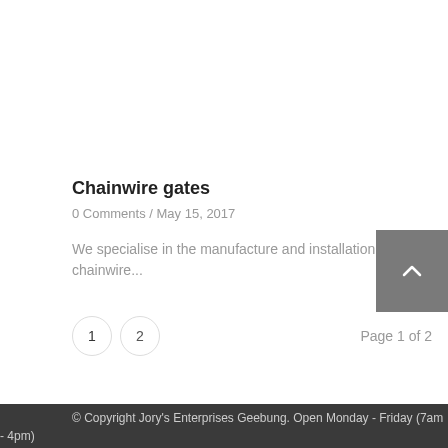Chainwire gates
0 Comments / May 15, 2017
We specialise in the manufacture and installation of chainwire...
1  2  Page 1 of 2
© Copyright Jory's Enterprises Geebung. Open Monday - Friday (7am - 4pm)